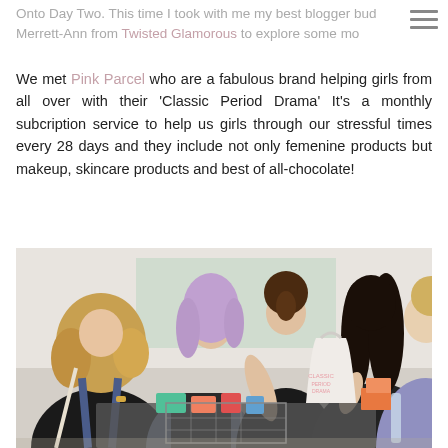Onto Day Two. This time I took with me my best blogger bud Merrett-Ann from Twisted Glamorous to explore some mo...
We met Pink Parcel who are a fabulous brand helping girls from all over with their 'Classic Period Drama' It's a monthly subcription service to help us girls through our stressful times every 28 days and they include not only femenine products but makeup, skincare products and best of all-chocolate!
[Figure (photo): Group of young women at an indoor event browsing a table of products including bags and items. One woman has purple hair, another has curly blonde hair. Some women are holding white tote bags with pink text reading 'Classic Period Drama'.]